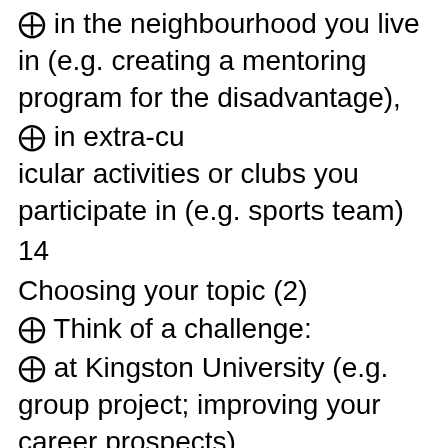❑ in the neighbourhood you live in (e.g. creating a mentoring program for the disadvantage),
❑ in extra-curricular activities or clubs you participate in (e.g. sports team)
14
Choosing your topic (2)
❑ Think of a challenge:
❑ at Kingston University (e.g. group project; improving your career prospects),
❑ in the organisation you work for (e.g. implementing a new process),
❑ in the neighbourhood you live in (e.g. creating a mentoring program for the disadvantaged)